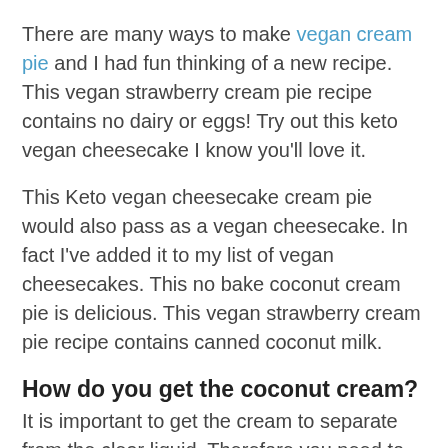There are many ways to make vegan cream pie and I had fun thinking of a new recipe. This vegan strawberry cream pie recipe contains no dairy or eggs! Try out this keto vegan cheesecake I know you'll love it.
This Keto vegan cheesecake cream pie would also pass as a vegan cheesecake. In fact I've added it to my list of vegan cheesecakes. This no bake coconut cream pie is delicious. This vegan strawberry cream pie recipe contains canned coconut milk.
How do you get the coconut cream?
It is important to get the cream to separate from the clear liquid. Therefore you need to chill the can for a few hours before opening.
Preferably over night. Then scoop the coconut cream out with a spoon. It will be the thick white top portion. This coconut cream is important for thick